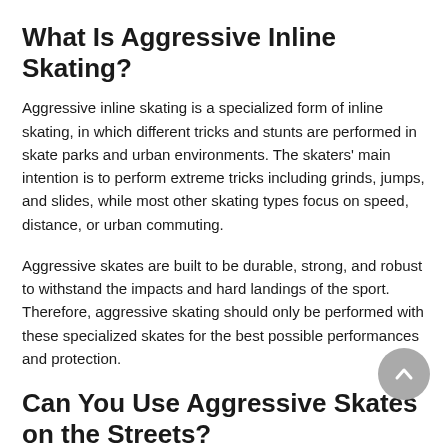What Is Aggressive Inline Skating?
Aggressive inline skating is a specialized form of inline skating, in which different tricks and stunts are performed in skate parks and urban environments. The skaters' main intention is to perform extreme tricks including grinds, jumps, and slides, while most other skating types focus on speed, distance, or urban commuting.
Aggressive skates are built to be durable, strong, and robust to withstand the impacts and hard landings of the sport. Therefore, aggressive skating should only be performed with these specialized skates for the best possible performances and protection.
Can You Use Aggressive Skates on the Streets?
Yes you can! But other than that, you can use them for other